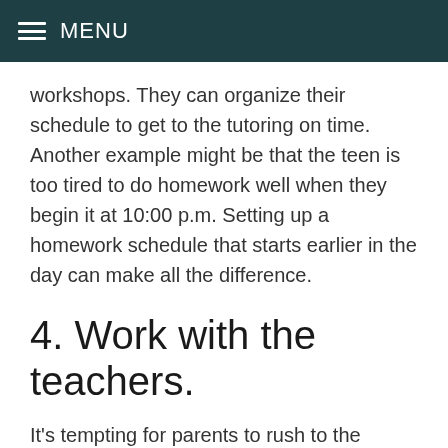MENU
workshops. They can organize their schedule to get to the tutoring on time. Another example might be that the teen is too tired to do homework well when they begin it at 10:00 p.m. Setting up a homework schedule that starts earlier in the day can make all the difference.
4. Work with the teachers.
It's tempting for parents to rush to the school and deal directly with the teachers, but allowing teens to manage their own school challenges is